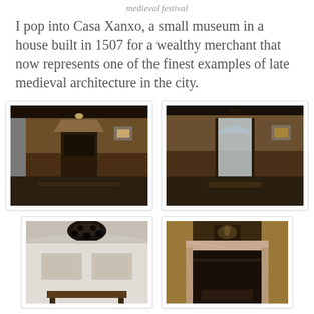medieval festival
I pop into Casa Xanxo, a small museum in a house built in 1507 for a wealthy merchant that now represents one of the finest examples of late medieval architecture in the city.
[Figure (photo): Interior of Casa Xanxo museum room showing a wooden-paneled hall with a fireplace and artwork on walls, warm brownish tones]
[Figure (photo): Interior of Casa Xanxo museum showing arched doorway leading to another room, wooden paneling and hanging artwork visible]
[Figure (photo): Room in Casa Xanxo with a decorative black chandelier hanging from the ceiling and artwork displayed on walls]
[Figure (photo): Close-up of an ornate marble fireplace in Casa Xanxo with a coat of arms above the mantle, warm golden walls]